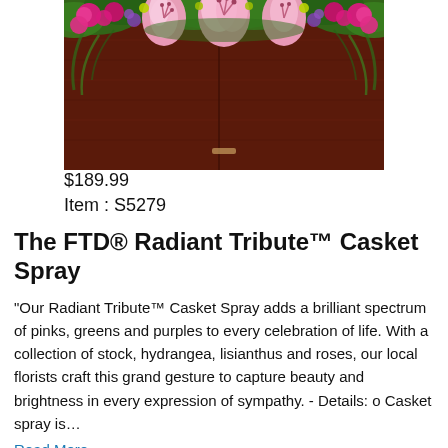[Figure (photo): Photo of a floral casket spray with pink lilies, hot pink roses, green ferns and purple flowers arranged on a dark wood casket]
$189.99
Item : S5279
The FTD® Radiant Tribute™ Casket Spray
"Our Radiant Tribute™ Casket Spray adds a brilliant spectrum of pinks, greens and purples to every celebration of life. With a collection of stock, hydrangea, lisianthus and roses, our local florists craft this grand gesture to capture beauty and brightness in every expression of sympathy. - Details: o Casket spray is…
Read More
$189.99